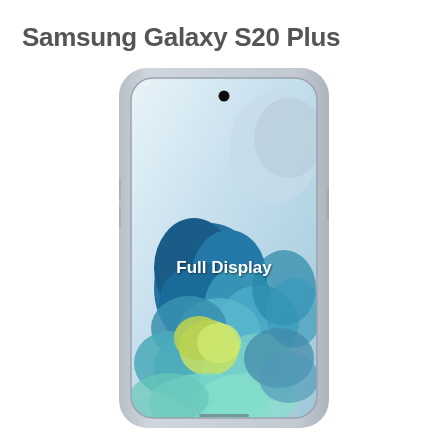Samsung Galaxy S20 Plus
[Figure (photo): Front view of Samsung Galaxy S20 Plus smartphone showing full display with colorful floral/coral wallpaper and 'Full Display' text overlay. The phone has a punch-hole front camera, curved glass edges, and a silver/gray frame.]